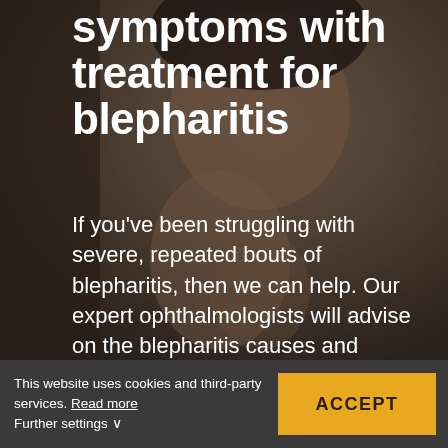[Figure (photo): Dark, muted background photo of a person (man) rubbing or touching his eye/face, suggesting eye discomfort. The image is darkened with an overlay to allow white text to be legible on top.]
symptoms with treatment for blepharitis
If you've been struggling with severe, repeated bouts of blepharitis, then we can help. Our expert ophthalmologists will advise on the blepharitis causes and treatment that are most aligned
This website uses cookies and third-party services. Read more
Further settings ∨